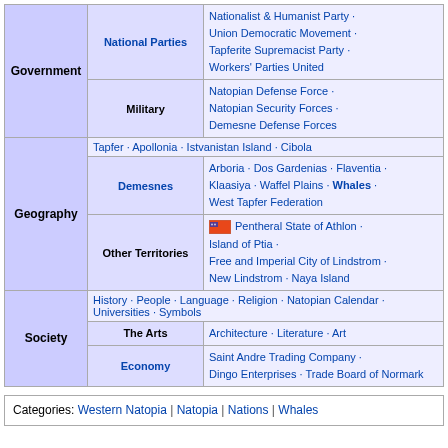| Government | National Parties | Nationalist & Humanist Party · Union Democratic Movement · Tapferite Supremacist Party · Workers' Parties United |
| Government | Military | Natopian Defense Force · Natopian Security Forces · Demesne Defense Forces |
| Geography |  | Tapfer · Apollonia · Istvanistan Island · Cibola |
| Geography | Demesnes | Arboria · Dos Gardenias · Flaventia · Klaasiya · Waffel Plains · Whales · West Tapfer Federation |
| Geography | Other Territories | Pentheral State of Athlon · Island of Ptia · Free and Imperial City of Lindstrom · New Lindstrom · Naya Island |
| Society |  | History · People · Language · Religion · Natopian Calendar · Universities · Symbols |
| Society | The Arts | Architecture · Literature · Art |
| Society | Economy | Saint Andre Trading Company · Dingo Enterprises · Trade Board of Normark |
Categories: Western Natopia | Natopia | Nations | Whales